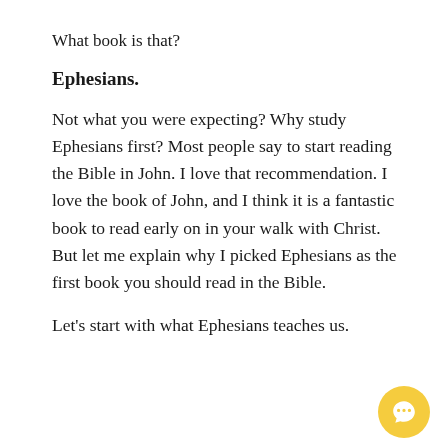What book is that?
Ephesians.
Not what you were expecting? Why study Ephesians first? Most people say to start reading the Bible in John. I love that recommendation. I love the book of John, and I think it is a fantastic book to read early on in your walk with Christ. But let me explain why I picked Ephesians as the first book you should read in the Bible.
Let's start with what Ephesians teaches us.